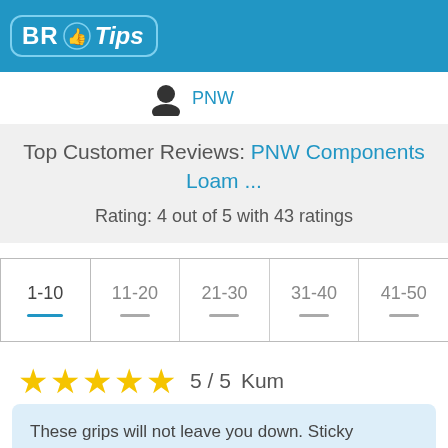BR Tips
PNW
Top Customer Reviews: PNW Components Loam ...
Rating: 4 out of 5 with 43 ratings
1-10
11-20
21-30
31-40
41-50
5 / 5  Kum
These grips will not leave you down. Sticky compound extra and quite plush. These are to good sure a upgrade of my factory Cannondale